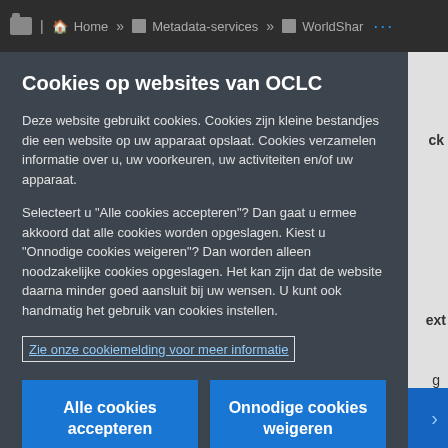Home » Metadata-services » WorldShar ...
Cookies op websites van OCLC
Deze website gebruikt cookies. Cookies zijn kleine bestandjes die een website op uw apparaat opslaat. Cookies verzamelen informatie over u, uw voorkeuren, uw activiteiten en/of uw apparaat.
Selecteert u "Alle cookies accepteren"? Dan gaat u ermee akkoord dat alle cookies worden opgeslagen. Kiest u "Onnodige cookies weigeren"? Dan worden alleen noodzakelijke cookies opgeslagen. Het kan zijn dat de website daarna minder goed aansluit bij uw wensen. U kunt ook handmatig het gebruik van cookies instellen.
Zie onze cookiemelding voor meer informatie
Alle cookies accepteren
Onnodige cookies weigeren
Cookie-instellingen aanpassen